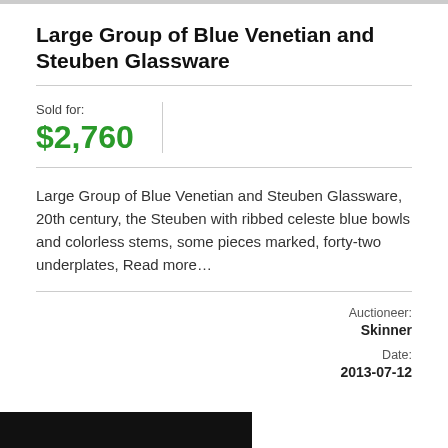Large Group of Blue Venetian and Steuben Glassware
Sold for:
$2,760
Large Group of Blue Venetian and Steuben Glassware, 20th century, the Steuben with ribbed celeste blue bowls and colorless stems, some pieces marked, forty-two underplates, Read more…
Auctioneer: Skinner
Date: 2013-07-12